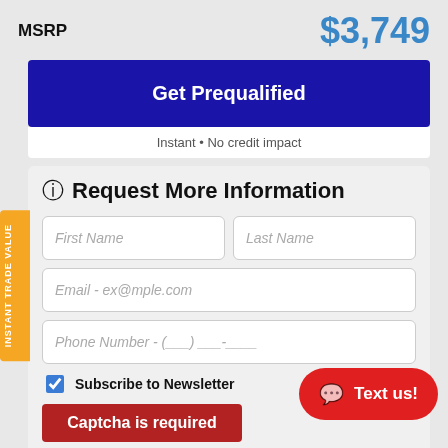MSRP
$3,749
INSTANT TRADE VALUE
Get Prequalified
Instant · No credit impact
Request More Information
First Name
Last Name
Email - ex@mple.com
Phone Number - (___) ___-____
Subscribe to Newsletter
Captcha is required
Text us!